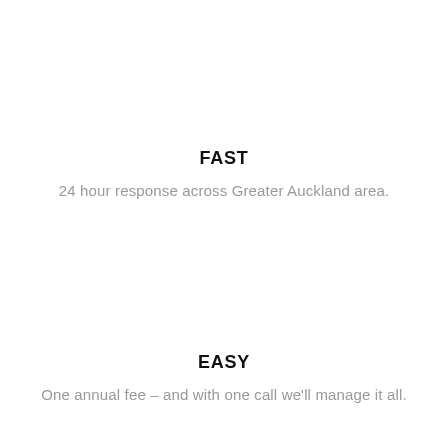FAST
24 hour response across Greater Auckland area.
EASY
One annual fee – and with one call we'll manage it all.